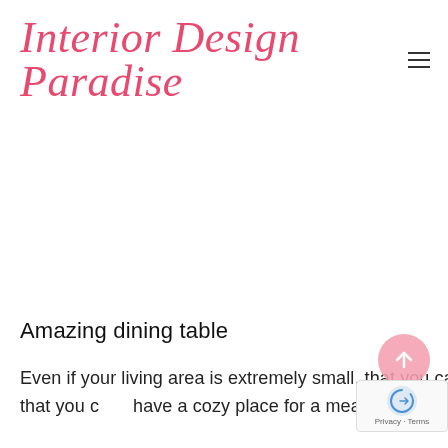Interior Design Paradise
[Figure (photo): Large image placeholder area (white/empty) representing a dining table photo]
Amazing dining table
Even if your living area is extremely small, that you can only fit the smallest dining table, that doesn't mean that you can't have a cozy place for a meal. Easy disassembly and reassembly makes it possible even if...